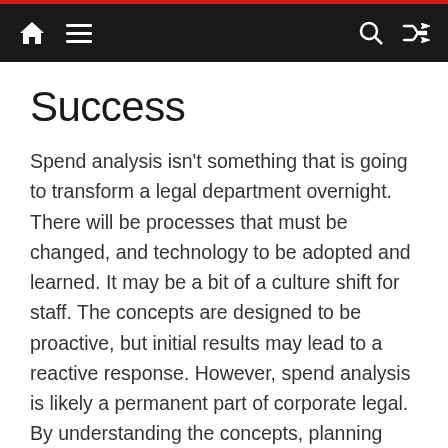Navigation bar with home, menu, search, and shuffle icons
Success
Spend analysis isn't something that is going to transform a legal department overnight. There will be processes that must be changed, and technology to be adopted and learned. It may be a bit of a culture shift for staff. The concepts are designed to be proactive, but initial results may lead to a reactive response. However, spend analysis is likely a permanent part of corporate legal. By understanding the concepts, planning properly, and implementing the right combination of technology and process improvements, corporate legal departments will be able to hit a home run on every matter.